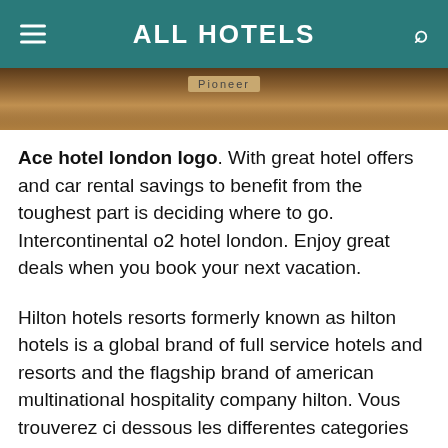ALL HOTELS
[Figure (photo): Partial photo of a hotel room interior showing a Pioneer brand stereo/speaker on a wooden surface, brown tones]
Ace hotel london logo. With great hotel offers and car rental savings to benefit from the toughest part is deciding where to go. Intercontinental o2 hotel london. Enjoy great deals when you book your next vacation.
Hilton hotels resorts formerly known as hilton hotels is a global brand of full service hotels and resorts and the flagship brand of american multinational hospitality company hilton. Vous trouverez ci dessous les differentes categories decran de veille que nous mettons a votre disposition il vous suffit de cliquer sur lune delle et ensuite de porter votre choix sur un ecran